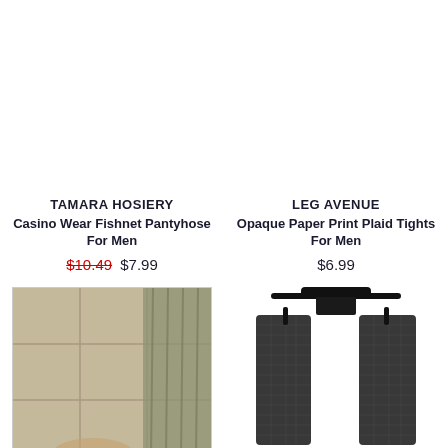[Figure (photo): White space / product image area for Casino Wear Fishnet Pantyhose (top, cropped off)]
[Figure (photo): White space / product image area for Opaque Paper Print Plaid Tights (top, cropped off)]
TAMARA HOSIERY
Casino Wear Fishnet Pantyhose For Men
$10.49 $7.99
LEG AVENUE
Opaque Paper Print Plaid Tights For Men
$6.99
[Figure (photo): Bottom-left product photo: partial image of a person in a curtained background, warm tones, cropped at bottom of page]
[Figure (photo): Bottom-right product photo: fishnet/cutout stockings on a model, black, waist to thigh visible, cropped at bottom of page]